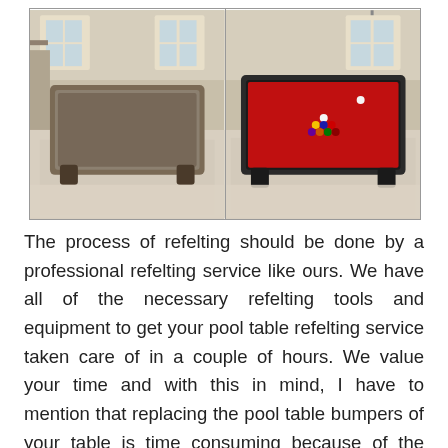[Figure (photo): Before and after comparison of a pool table refelting. Left side shows the table with old, worn felt and the label 'Before'. Right side shows the table with new red felt and billiard balls racked, labeled 'After'. Both photos are taken in the same carpeted room.]
The process of refelting should be done by a professional refelting service like ours. We have all of the necessary refelting tools and equipment to get your pool table refelting service taken care of in a couple of hours. We value your time and with this in mind, I have to mention that replacing the pool table bumpers of your table is time consuming because of the methodical nature of the process and also because is